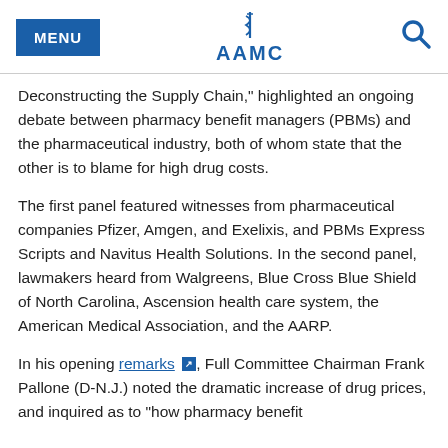MENU | AAMC | [search]
Deconstructing the Supply Chain," highlighted an ongoing debate between pharmacy benefit managers (PBMs) and the pharmaceutical industry, both of whom state that the other is to blame for high drug costs.
The first panel featured witnesses from pharmaceutical companies Pfizer, Amgen, and Exelixis, and PBMs Express Scripts and Navitus Health Solutions. In the second panel, lawmakers heard from Walgreens, Blue Cross Blue Shield of North Carolina, Ascension health care system, the American Medical Association, and the AARP.
In his opening remarks [external link], Full Committee Chairman Frank Pallone (D-N.J.) noted the dramatic increase of drug prices, and inquired as to "how pharmacy benefit